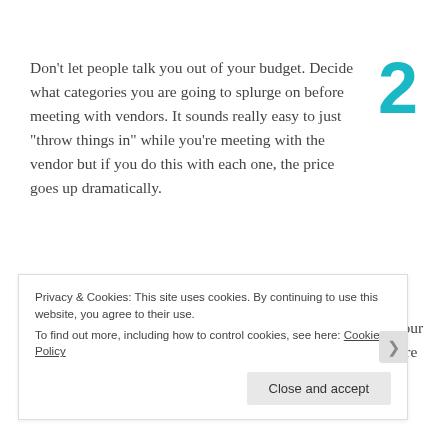2 Don't let people talk you out of your budget. Decide what categories you are going to splurge on before meeting with vendors. It sounds really easy to just "throw things in" while you're meeting with the vendor but if you do this with each one, the price goes up dramatically.
3 If you have two left feet, take dance lessons. Your first dance is a very special time where the entire room will be looking right at you. Instead
Privacy & Cookies: This site uses cookies. By continuing to use this website, you agree to their use.
To find out more, including how to control cookies, see here: Cookie Policy